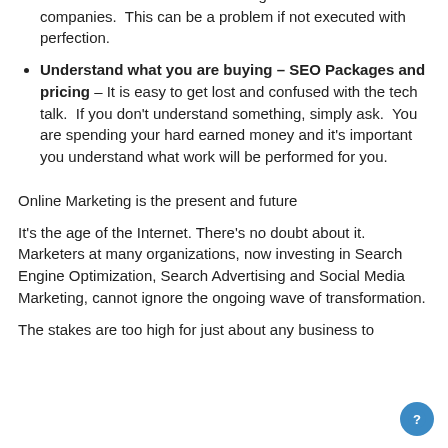Is the SEO work done in house or outsourced? Many firms are resellers are outsourcing SEO work to other companies. This can be a problem if not executed with perfection.
Understand what you are buying – SEO Packages and pricing – It is easy to get lost and confused with the tech talk. If you don't understand something, simply ask. You are spending your hard earned money and it's important you understand what work will be performed for you.
Online Marketing is the present and future
It's the age of the Internet. There's no doubt about it. Marketers at many organizations, now investing in Search Engine Optimization, Search Advertising and Social Media Marketing, cannot ignore the ongoing wave of transformation.
The stakes are too high for just about any business to